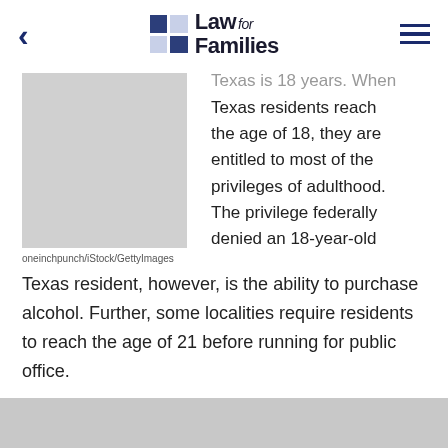Law for Families
[Figure (photo): Photo placeholder with credit: oneinchpunch/iStock/GettyImages]
Texas is 18 years. When Texas residents reach the age of 18, they are entitled to most of the privileges of adulthood. The privilege federally denied an 18-year-old Texas resident, however, is the ability to purchase alcohol. Further, some localities require residents to reach the age of 21 before running for public office.